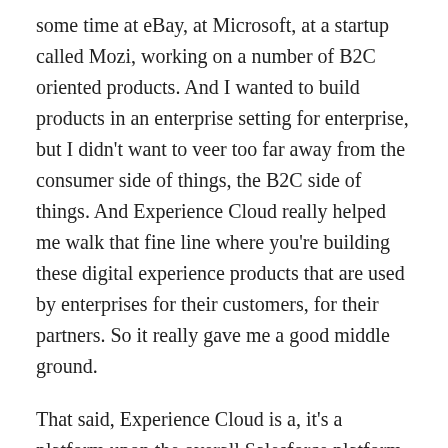some time at eBay, at Microsoft, at a startup called Mozi, working on a number of B2C oriented products. And I wanted to build products in an enterprise setting for enterprise, but I didn't want to veer too far away from the consumer side of things, the B2C side of things. And Experience Cloud really helped me walk that fine line where you're building these digital experience products that are used by enterprises for their customers, for their partners. So it really gave me a good middle ground.
That said, Experience Cloud is a, it's a platform upon the overall Salesforce platform. And so over the last six and a half years or so, I've had the opportunity to work with some immensely dedicated individuals on the platform side of things as well. And so that bring a lot of the goodness that we see in Lex and Experience Cloud and Mobile to life. And so bringing the teams together